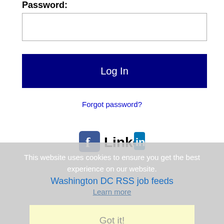Password:
[Figure (screenshot): Password input field (empty text box)]
[Figure (screenshot): Log In button - dark navy blue button with white text]
Forgot password?
[Figure (logo): Facebook logo icon and LinkedIn logo icon side by side]
This website uses cookies to ensure you get the best experience on our website.
Washington DC RSS job feeds
Learn more
[Figure (screenshot): Got it! button in light yellow/cream background]